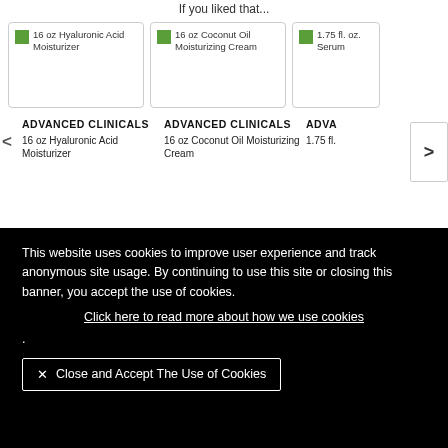If you liked that...
[Figure (screenshot): Product carousel showing three product cards: 16 oz Hyaluronic Acid Moisturizer, 16 oz Coconut Oil Moisturizing Cream, and partially visible 1.75 fl. oz. Serum, with navigation arrows]
ADVANCED CLINICALS
16 oz Hyaluronic Acid Moisturizer
ADVANCED CLINICALS
16 oz Coconut Oil Moisturizing Cream
ADVA
1.75 fl.
This website uses cookies to improve user experience and track anonymous site usage. By continuing to use this site or closing this banner, you accept the use of cookies.
Click here to read more about how we use cookies
.
✕ Close and Accept The Use of Cookies